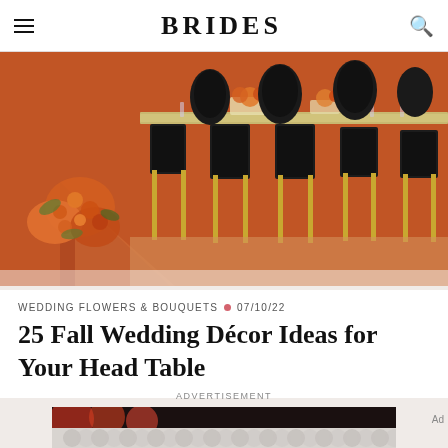BRIDES
[Figure (photo): Wedding reception table setting with elegant black and gold chairs around a long table with floral centerpieces, orange/terracotta background with geometric triangle accent]
WEDDING FLOWERS & BOUQUETS • 07/10/22
25 Fall Wedding Décor Ideas for Your Head Table
ADVERTISEMENT
[Figure (photo): Advertisement banner with dark background and decorative circular pattern overlay]